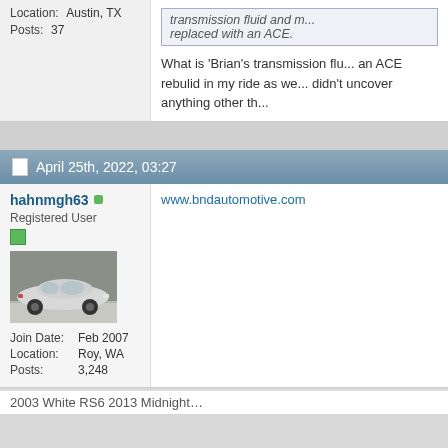Location: Austin, TX
Posts: 37
transmission fluid and m... replaced with an ACE.
What is 'Brian's transmission flu... an ACE rebuild in my ride as we... didn't uncover anything other th...
April 25th, 2022, 03:27
hahnmgh63
Registered User
[Figure (photo): Side profile photo of a silver Audi sedan with black wheels, parked in front of a house]
Join Date: Feb 2007
Location: Roy, WA
Posts: 3,248
www.bndautomotive.com
2003 White RS6 2013 Midnight...